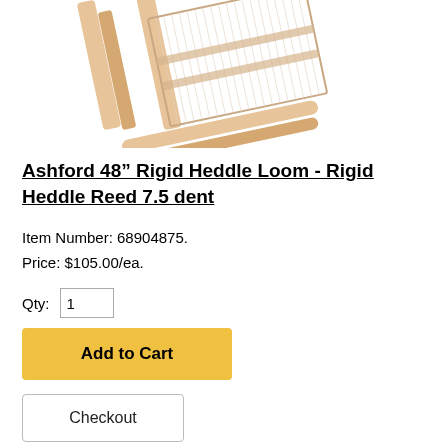[Figure (photo): Partial view of an Ashford rigid heddle loom with wooden frame and white heddle reed, cropped at top of page]
Ashford 48” Rigid Heddle Loom - Rigid Heddle Reed 7.5 dent
Item Number: 68904875.
Price: $105.00/ea.
Qty: 1
Add to Cart
Checkout
Ships in: